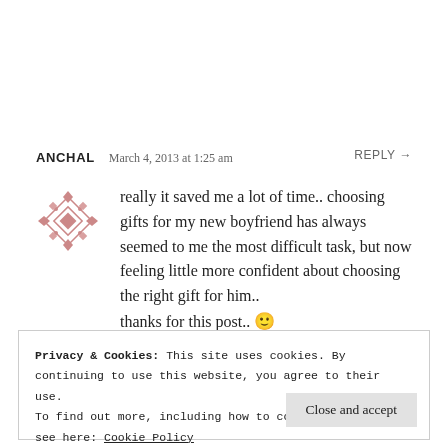ANCHAL  March 4, 2013 at 1:25 am    REPLY →
[Figure (illustration): Pink/mauve decorative tile avatar icon for user Anchal]
really it saved me a lot of time.. choosing gifts for my new boyfriend has always seemed to me the most difficult task, but now feeling little more confident about choosing the right gift for him.. thanks for this post.. 🙂
Privacy & Cookies: This site uses cookies. By continuing to use this website, you agree to their use.
To find out more, including how to control cookies, see here: Cookie Policy
Close and accept